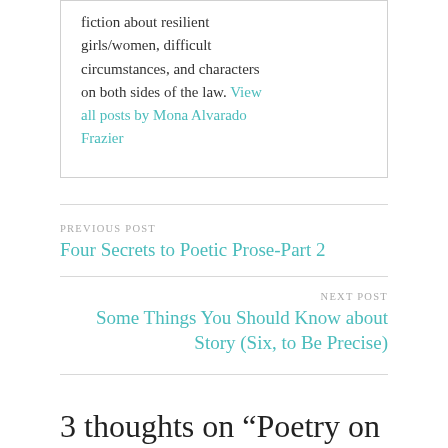fiction about resilient girls/women, difficult circumstances, and characters on both sides of the law. View all posts by Mona Alvarado Frazier
PREVIOUS POST
Four Secrets to Poetic Prose-Part 2
NEXT POST
Some Things You Should Know about Story (Six, to Be Precise)
3 thoughts on “Poetry on Wednesdays, Political Poetry”